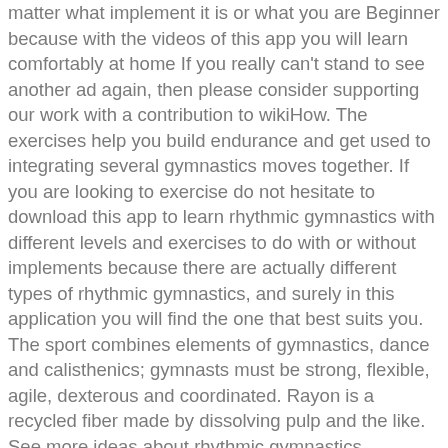matter what implement it is or what you are Beginner because with the videos of this app you will learn comfortably at home If you really can't stand to see another ad again, then please consider supporting our work with a contribution to wikiHow. The exercises help you build endurance and get used to integrating several gymnastics moves together. If you are looking to exercise do not hesitate to download this app to learn rhythmic gymnastics with different levels and exercises to do with or without implements because there are actually different types of rhythmic gymnastics, and surely in this application you will find the one that best suits you. The sport combines elements of gymnastics, dance and calisthenics; gymnasts must be strong, flexible, agile, dexterous and coordinated. Rayon is a recycled fiber made by dissolving pulp and the like. See more ideas about rhythmic gymnastics, gymnastics, rhythmic. Rhythmic gymnastics is an event in the Olympic Games. Widen your gymnastic possibilities with GYMES. Browse more videos. Unlike traditional Gymnastics, where wooden sticks, water, and high jumps are involved, Rhythmic Gymnastics specifically happened on the floor with a variety of different apparatuses. Rhythmic Gymnastics at the MDI YMCA is perfect for those kids who show an interest in both dance and tumbling. What are the proper lengths of music time for individual rhythmic gymnastics routines under FIG? Please help gymnastics...